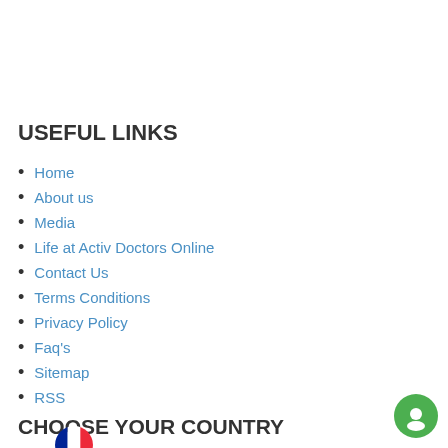USEFUL LINKS
Home
About us
Media
Life at Activ Doctors Online
Contact Us
Terms Conditions
Privacy Policy
Faq's
Sitemap
RSS
CHOOSE YOUR COUNTRY
[Figure (illustration): French flag circle icon]